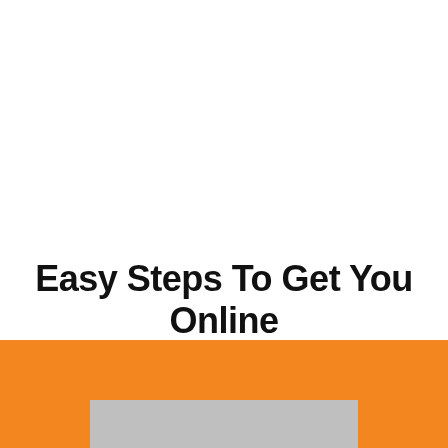Easy Steps To Get You Online Fast!
[Figure (other): Orange background section at bottom of page with a gray rectangle partially visible]